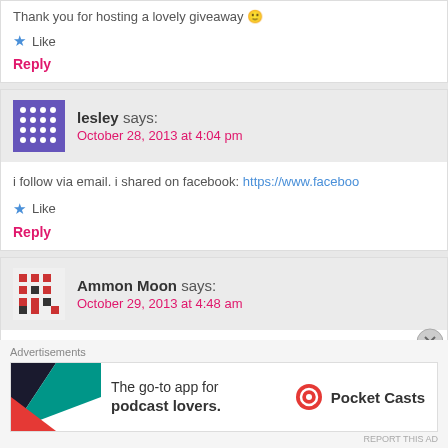Thank you for hosting a lovely giveaway 🙂
Like
Reply
lesley says:
October 28, 2013 at 4:04 pm
i follow via email. i shared on facebook: https://www.facebook...
Like
Reply
Ammon Moon says:
October 29, 2013 at 4:48 am
It's all done. I shared @ https://www.facebook.com/Ammon.M... page that guide me here. :)
[Figure (screenshot): Pocket Casts advertisement banner: The go-to app for podcast lovers.]
Advertisements